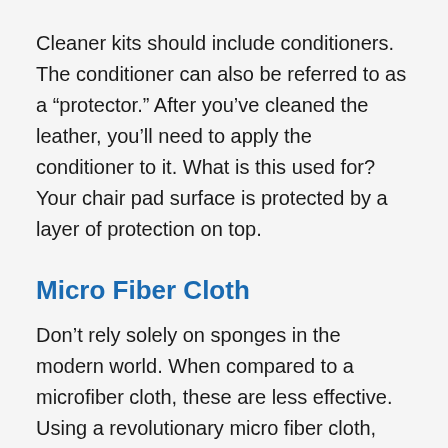Cleaner kits should include conditioners. The conditioner can also be referred to as a “protector.” After you’ve cleaned the leather, you’ll need to apply the conditioner to it. What is this used for? Your chair pad surface is protected by a layer of protection on top.
Micro Fiber Cloth
Don’t rely solely on sponges in the modern world. When compared to a microfiber cloth, these are less effective. Using a revolutionary micro fiber cloth, you can easily remove dirt and dust from your surface. Using this type of